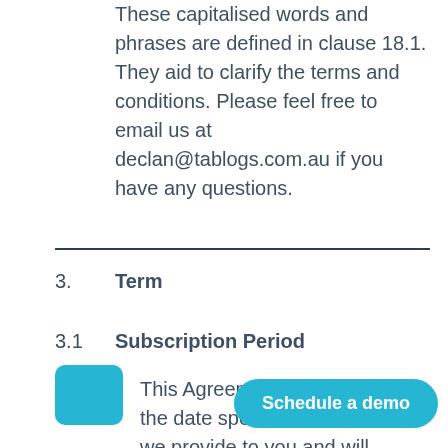These capitalised words and phrases are defined in clause 18.1. They aid to clarify the terms and conditions. Please feel free to email us at declan@tablogs.com.au if you have any questions.
3.   Term
3.1   Subscription Period
This Agreement will the date specifie we provide to you and will